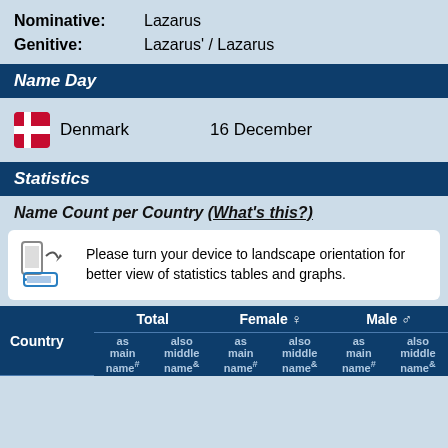Nominative: Lazarus
Genitive: Lazarus' / Lazarus
Name Day
Denmark  16 December
Statistics
Name Count per Country (What's this?)
Please turn your device to landscape orientation for better view of statistics tables and graphs.
| Country | Total as main name# | Total also middle name& | Female as main name# | Female also middle name& | Male as main name# | Male also middle name& |
| --- | --- | --- | --- | --- | --- | --- |